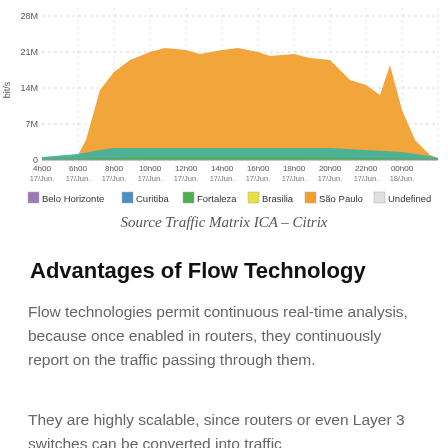[Figure (area-chart): Stacked area chart showing network traffic in bit/s from multiple Brazilian cities (Belo Horizonte, Curitiba, Fortaleza, Brasilia, São Paulo, Undefined) over a 24-hour period from 4h00 17/Jun. to 00h00 18/Jun. The dominant layer is São Paulo (orange), reaching peaks around 21M–28M bit/s between 8h00 and 20h00.]
Source Traffic Matrix ICA – Citrix
Advantages of Flow Technology
Flow technologies permit continuous real-time analysis, because once enabled in routers, they continuously report on the traffic passing through them.
They are highly scalable, since routers or even Layer 3 switches can be converted into traffic